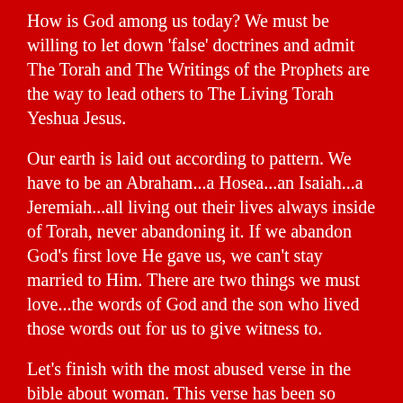How is God among us today? We must be willing to let down 'false' doctrines and admit The Torah and The Writings of the Prophets are the way to lead others to The Living Torah Yeshua Jesus.
Our earth is laid out according to pattern. We have to be an Abraham...a Hosea...an Isaiah...a Jeremiah...all living out their lives always inside of Torah, never abandoning it. If we abandon God's first love He gave us, we can't stay married to Him. There are two things we must love...the words of God and the son who lived those words out for us to give witness to.
Let's finish with the most abused verse in the bible about woman. This verse has been so misused all through history. Woman have been thought to be without a brain and even their monthly cycle with disscomfort and heaviness was thought to all in their